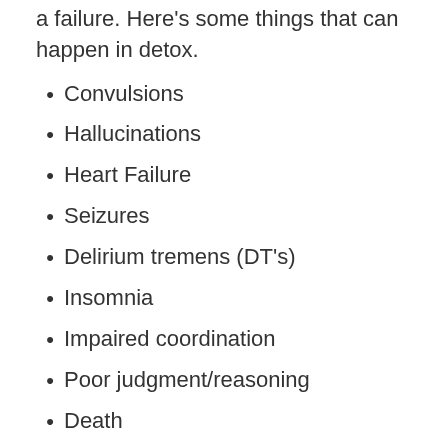a failure. Here's some things that can happen in detox.
Convulsions
Hallucinations
Heart Failure
Seizures
Delirium tremens (DT's)
Insomnia
Impaired coordination
Poor judgment/reasoning
Death
Contact Us
At Clearbrook Treatment Centers, we offer a safe, medical detox for everyone who walks through our doors. Here you will be able to withdrawal from your addiction with minimal symptoms and will be watched over around the clock by